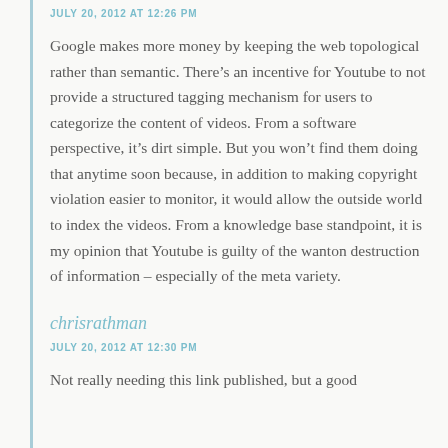JULY 20, 2012 AT 12:26 PM
Google makes more money by keeping the web topological rather than semantic. There’s an incentive for Youtube to not provide a structured tagging mechanism for users to categorize the content of videos. From a software perspective, it’s dirt simple. But you won’t find them doing that anytime soon because, in addition to making copyright violation easier to monitor, it would allow the outside world to index the videos. From a knowledge base standpoint, it is my opinion that Youtube is guilty of the wanton destruction of information – especially of the meta variety.
chrisrathman
JULY 20, 2012 AT 12:30 PM
Not really needing this link published, but a good